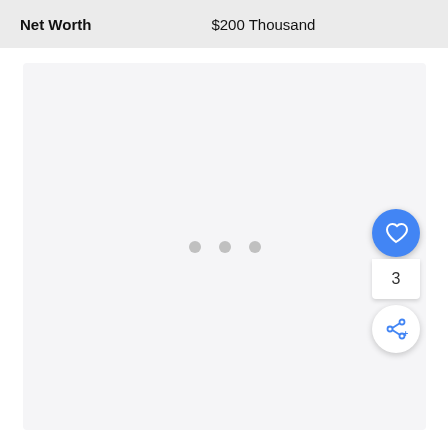Net Worth    $200 Thousand
[Figure (other): Empty content area with loading dots indicator showing three grey circles centered in a light grey rounded rectangle panel]
[Figure (infographic): Floating action button group on right side: blue circle with heart icon, count badge showing 3, white circle with share/add icon]